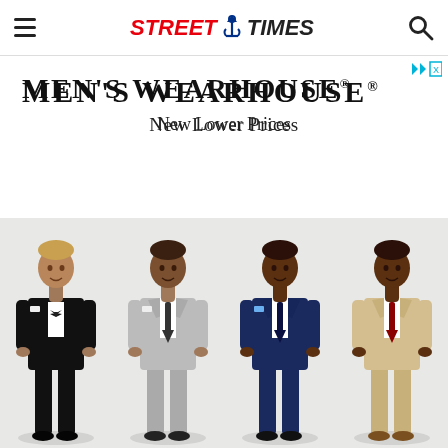Street Times — navigation header with hamburger menu and search icon
[Figure (advertisement): Men's Wearhouse advertisement showing brand name, tagline 'New Lower Prices', and four male models wearing suits: black tuxedo, grey suit, navy suit, and beige/tan suit]
MEN'S WEARHOUSE®
New Lower Prices